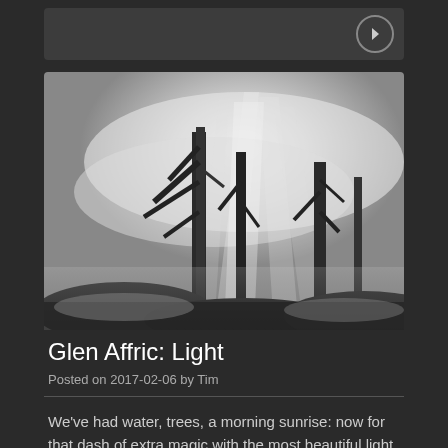[Figure (other): Navigation bar with right-arrow button]
[Figure (photo): Black and white atmospheric forest scene with misty light rays filtering through tall pine trees, Glen Affric]
Glen Affric: Light
Posted on 2017-02-06 by Tim
We've had water, trees, a morning sunrise: now for that dash of extra magic with the most beautiful light. That's my place, my moment.